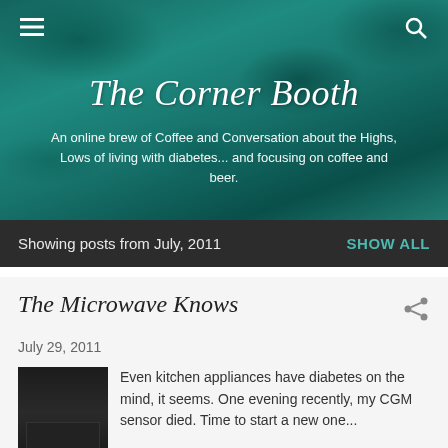[Figure (screenshot): Website header hero image showing teal/turquoise aerial water texture background for The Corner Booth blog]
The Corner Booth
An online brew of Coffee and Conversation about the Highs, Lows of living with diabetes... and focusing on coffee and beer.
Showing posts from July, 2011    SHOW ALL
The Microwave Knows
July 29, 2011
[Figure (photo): Photo of a microwave oven, dark colored, showing digital display panel]
Even kitchen appliances have diabetes on the mind, it seems. One evening recently, my CGM sensor died. Time to start a new one...